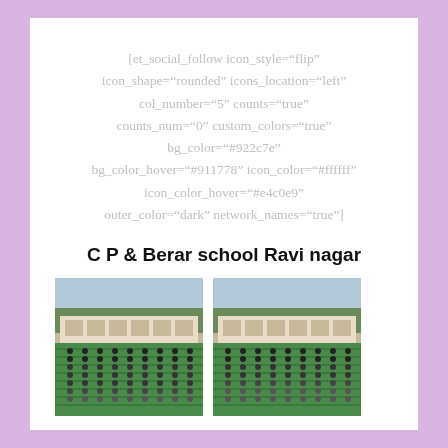[et_social_follow icon_style="flip" icon_shape="rounded" icons_location="left" col_number="5" counts="true" counts_num="0" custom_colors="true" bg_color="#922c7e" bg_color_hover="#911778" icon_color="#ffffff" icon_color_hover="#e4c0e9" outer_color="dark" network_names="true"]
C P & Berar school Ravi nagar
[Figure (photo): Two photos side by side showing students doing yoga/assembly in school outdoor ground with green mat and school building in background]